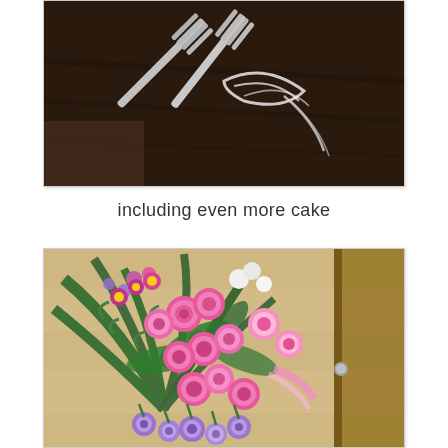[Figure (photo): Photo of silver forks with white ribbon on a dark wooden surface, viewed from above]
including even more cake
[Figure (photo): Photo of a floral arrangement with pink roses, purple flowers, and green palm leaves spread on a light wood floor near a door]